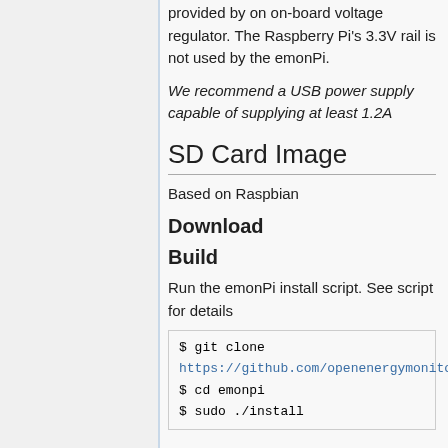provided by on on-board voltage regulator. The Raspberry Pi's 3.3V rail is not used by the emonPi.
We recommend a USB power supply capable of supplying at least 1.2A
SD Card Image
Based on Raspbian
Download
Build
Run the emonPi install script. See script for details
$ git clone https://github.com/openenergymonitor/emonpi.git $ cd emonpi $ sudo ./install